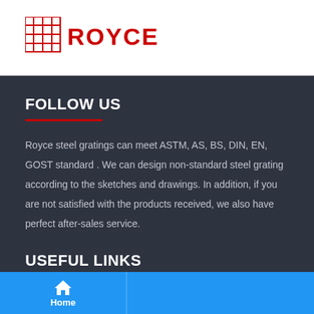[Figure (logo): Royce logo with red grid icon and ROYCE text in red capital letters]
FOLLOW US
Royce steel gratings can meet ASTM, AS, BS, DIN, EN, GOST standard . We can design non-standard steel grating according to the sketches and drawings. In addition, if you are not satisfied with the products received, we also have perfect after-sales service.
USEFUL LINKS
Home
About Us
Home